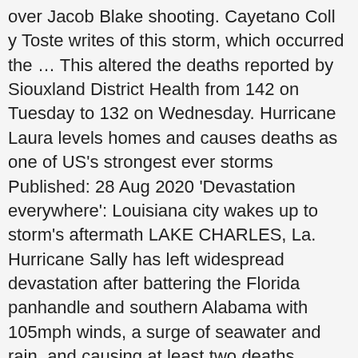over Jacob Blake shooting. Cayetano Coll y Toste writes of this storm, which occurred the … This altered the deaths reported by Siouxland District Health from 142 on Tuesday to 132 on Wednesday. Hurricane Laura levels homes and causes deaths as one of US's strongest ever storms Published: 28 Aug 2020 'Devastation everywhere': Louisiana city wakes up to storm's aftermath LAKE CHARLES, La. Hurricane Sally has left widespread devastation after battering the Florida panhandle and southern Alabama with 105mph winds, a surge of seawater and rain, and causing at least two deaths. UPDATE 9/17/18: Remnants of Hurricane Florence are now a post-tropical cyclone moving over the Mid-Atlantic states. … still tries to recover with the havoc caused by the Category 4 hurricane … director of public safety Jacob Saur. To date the storm has caused approximately 25 deaths. (WAFB) - The number of deaths linked to Hurricane Laura continues to grow due to the use of generators. The reported death toll from hurricane Sandy's flooding and high winds has now reached above